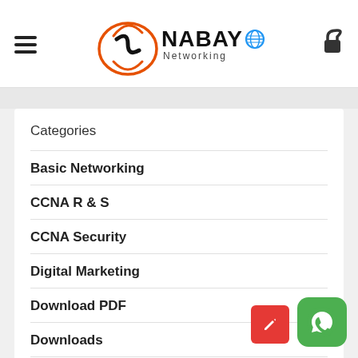[Figure (logo): Snabayo Networking logo with circular S graphic in orange/red and globe icon in blue]
Categories
Basic Networking
CCNA R & S
CCNA Security
Digital Marketing
Download PDF
Downloads
Education